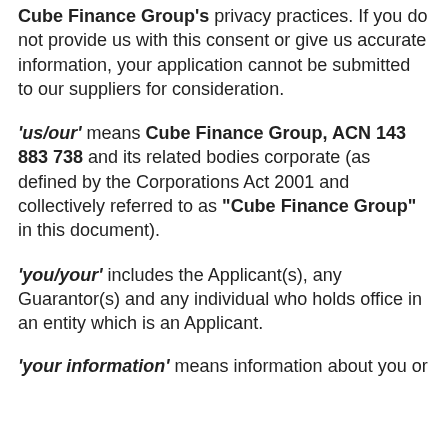Cube Finance Group's privacy practices. If you do not provide us with this consent or give us accurate information, your application cannot be submitted to our suppliers for consideration.
'us/our' means Cube Finance Group, ACN 143 883 738 and its related bodies corporate (as defined by the Corporations Act 2001 and collectively referred to as "Cube Finance Group" in this document).
'you/your' includes the Applicant(s), any Guarantor(s) and any individual who holds office in an entity which is an Applicant.
'your information' means information about you or